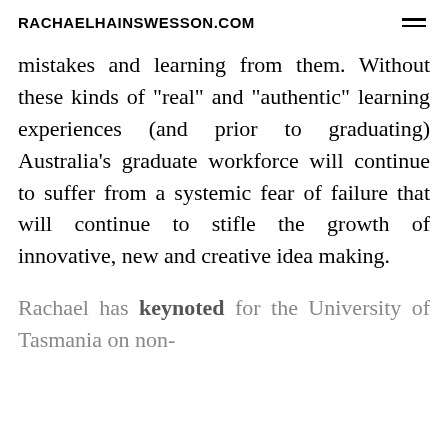RACHAELHAINSWESSON.COM
mistakes and learning from them. Without these kinds of "real" and "authentic" learning experiences (and prior to graduating) Australia's graduate workforce will continue to suffer from a systemic fear of failure that will continue to stifle the growth of innovative, new and creative idea making.
Rachael has keynoted for the University of Tasmania on non-